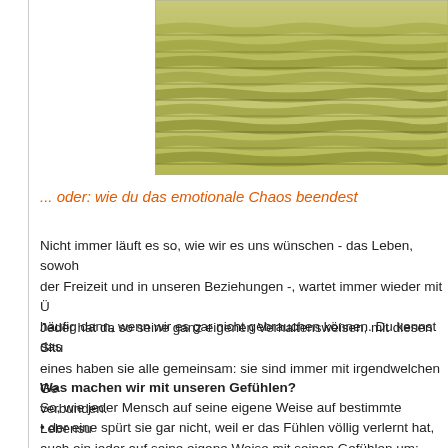[Figure (photo): Close-up photo of layered green/yellow felt or fabric with wavy horizontal ridges]
... oder: wie du das emotionale Chaos beendest
Nicht immer läuft es so, wie wir es uns wünschen - das Leben, sowoh der Freizeit und in unseren Beziehungen -, wartet immer wieder mit Ü häufig dann, wenn wir es gar nicht gebrauchen können. Du kennst das
Jeder hat da so seine ganz eigenen Verhaltensweisen, mit diesen Situ eines haben sie alle gemeinsam: sie sind immer mit irgendwelchen Ge verbunden.
Was machen wir mit unseren Gefühlen?
So, wie jeder Mensch auf seine eigene Weise auf bestimmte Lebensu auch ein jeder auf seine eigene Weise mit seinen Gefühlen um:
• der eine spürt sie gar nicht, weil er das Fühlen völlig verlernt hat,